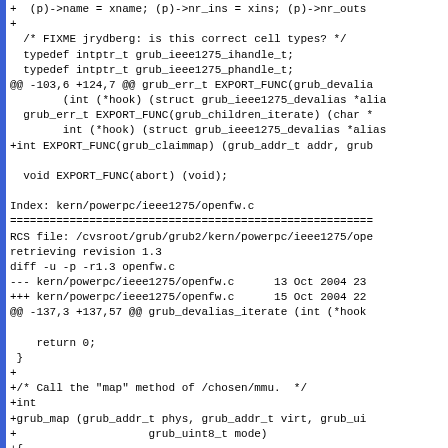[Figure (other): Source code diff showing changes to grub IEEE1275 and powerpc openfw.c files]